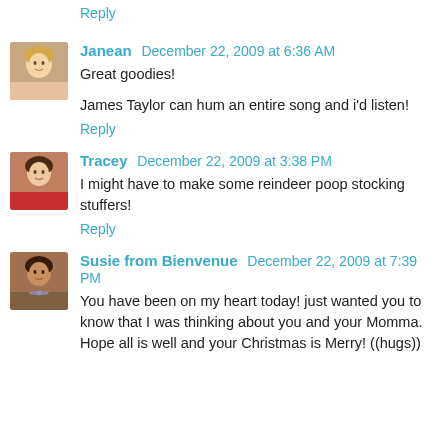Reply
Janean  December 22, 2009 at 6:36 AM
Great goodies!

James Taylor can hum an entire song and i'd listen!
Reply
Tracey  December 22, 2009 at 3:38 PM
I might have to make some reindeer poop stocking stuffers!
Reply
Susie from Bienvenue  December 22, 2009 at 7:39 PM
You have been on my heart today! just wanted you to know that I was thinking about you and your Momma. Hope all is well and your Christmas is Merry! ((hugs))